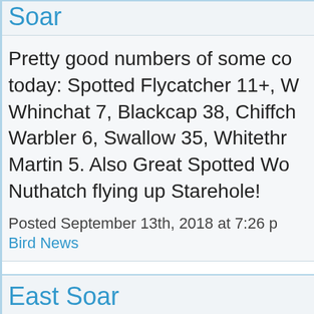Soar
Pretty good numbers of some co today: Spotted Flycatcher 11+, W Whinchat 7, Blackcap 38, Chiffc Warbler 6, Swallow 35, Whitethr Martin 5. Also Great Spotted Wo Nuthatch flying up Starehole!
Posted September 13th, 2018 at 7:26 p Bird News
East Soar
A good morning for the common Bird Plover 30, Swallow 50...